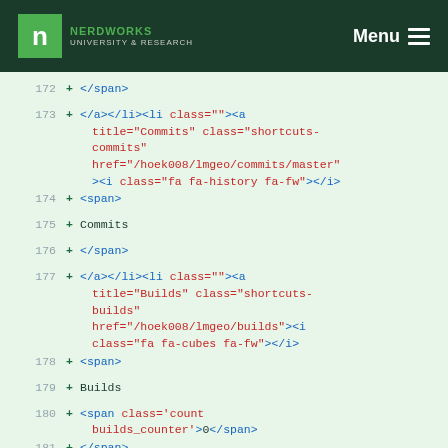NERDWORKS UNIVERSITY & RESEARCH | Menu
[Figure (screenshot): Code diff view showing HTML lines 172-182 with line numbers and + diff markers on a light green background. Code uses monospace font with syntax highlighting (blue for tags, red for attributes/values).]